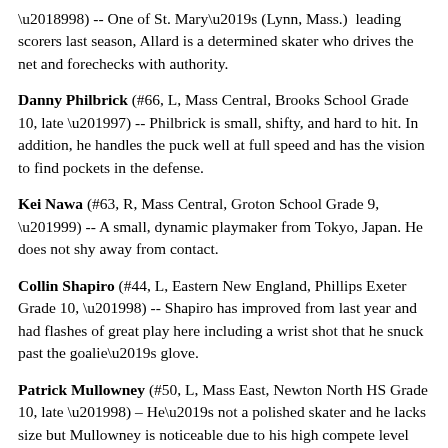'98) -- One of St. Mary's (Lynn, Mass.) leading scorers last season, Allard is a determined skater who drives the net and forechecks with authority.
Danny Philbrick (#66, L, Mass Central, Brooks School Grade 10, late '97) -- Philbrick is small, shifty, and hard to hit. In addition, he handles the puck well at full speed and has the vision to find pockets in the defense.
Kei Nawa (#63, R, Mass Central, Groton School Grade 9, '99) -- A small, dynamic playmaker from Tokyo, Japan. He does not shy away from contact.
Collin Shapiro (#44, L, Eastern New England, Phillips Exeter Grade 10, '98) -- Shapiro has improved from last year and had flashes of great play here including a wrist shot that he snuck past the goalie's glove.
Patrick Mullowney (#50, L, Mass East, Newton North HS Grade 10, late '98) – He's not a polished skater and he lacks size but Mullowney is noticeable due to his high compete level and puck possession skills. A 12/21/98 birthdate.
Kyle Welch (#52, Mass North, Phillips Andover Grade 9, '99) -- A developing prospect who will be a freshman at Andover this year.